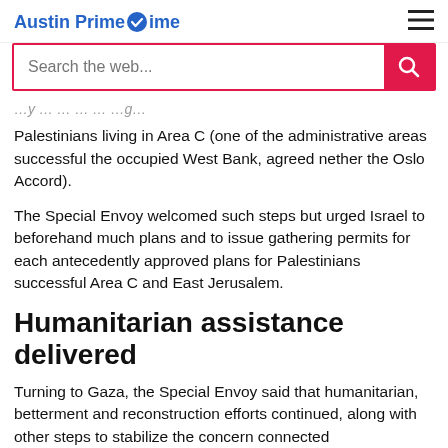Austin Primetime
Palestinians living in Area C (one of the administrative areas successful the occupied West Bank, agreed nether the Oslo Accord).
The Special Envoy welcomed such steps but urged Israel to beforehand much plans and to issue gathering permits for each antecedently approved plans for Palestinians successful Area C and East Jerusalem.
Humanitarian assistance delivered
Turning to Gaza, the Special Envoy said that humanitarian, betterment and reconstruction efforts continued, along with other steps to stabilize the concern connected